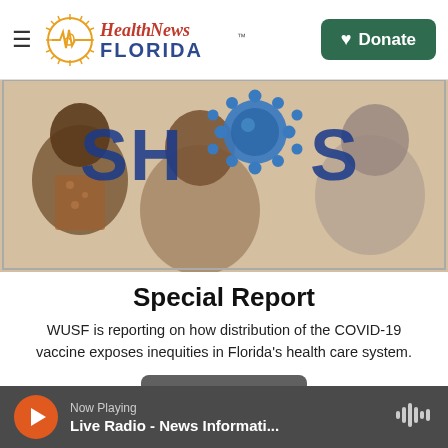Health News Florida — Donate
[Figure (illustration): COVID-19 vaccine special report header image with diverse silhouette profiles and a blue coronavirus particle, text 'SHOTS' partially visible]
Special Report
WUSF is reporting on how distribution of the COVID-19 vaccine exposes inequities in Florida's health care system.
Read More
Now Playing — Live Radio - News Informati...